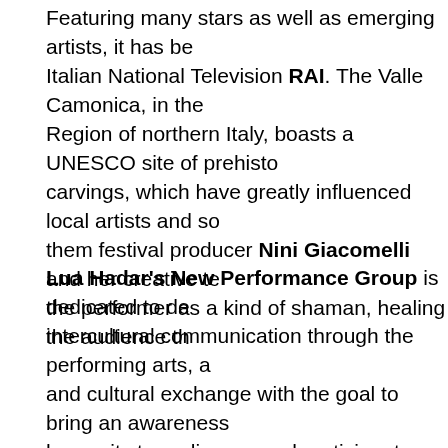Featuring many stars as well as emerging artists, it has be Italian National Television RAI. The Valle Camonica, in the Region of northern Italy, boasts a UNESCO site of prehisto carvings, which have greatly influenced local artists and so them festival producer Nini Giacomelli and her creative te the performer as a kind of shaman, healing the audience th
Lua Hadar's New Performance Group is dedicated to de intercultural communication through the performing arts, a and cultural exchange with the goal to bring an awareness humanity to audiences and participants. New Performance produced classes, performances, CDs, community events, exchange and a DVD in its 20-year history. Nominated for Music Award, Lua Hadar is a vocalist, emcee and indie pro long history of performing both abroad (Italy, France, Thail and in New York and San Francisco, including at legendar music venues such as The Purple Onion, Peña Pachaman